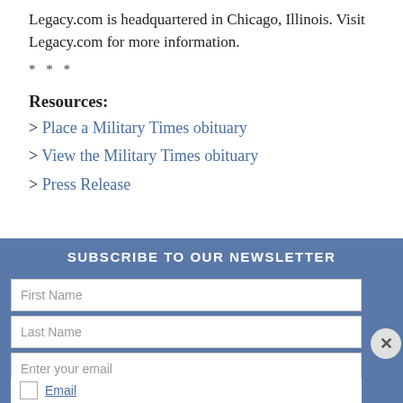Legacy.com is headquartered in Chicago, Illinois. Visit Legacy.com for more information.
* * *
Resources:
> Place a Military Times obituary
> View the Military Times obituary
> Press Release
[Figure (screenshot): Newsletter subscription overlay with fields for First Name, Last Name, Enter your email, a Subscribe Now button, and a close (X) button. Header reads 'SUBSCRIBE TO OUR NEWSLETTER'. Bottom shows an Email row with checkbox.]